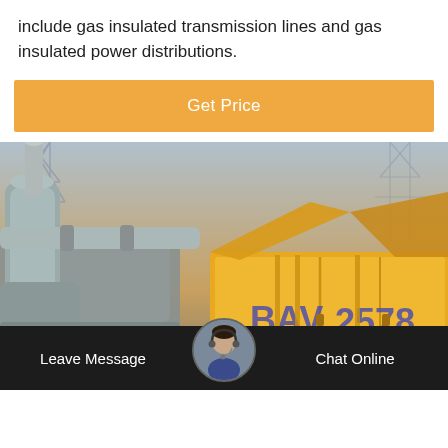include gas insulated transmission lines and gas insulated power distributions.
Get Price
[Figure (photo): Electrical power substation with gas insulated equipment; a yellow truck or container with text 'BAV 2578' visible in background; industrial towers and piping in foreground with sunset lighting.]
Leave Message  Chat Online